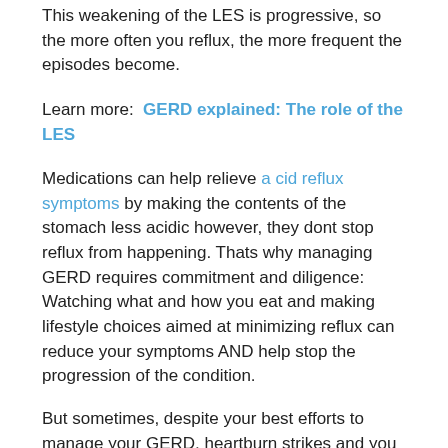This weakening of the LES is progressive, so the more often you reflux, the more frequent the episodes become.
Learn more: GERD explained: The role of the LES
Medications can help relieve a cid reflux symptoms by making the contents of the stomach less acidic however, they dont stop reflux from happening. Thats why managing GERD requires commitment and diligence: Watching what and how you eat and making lifestyle choices aimed at minimizing reflux can reduce your symptoms AND help stop the progression of the condition.
But sometimes, despite your best efforts to manage your GERD, heartburn strikes and you need relief . So though we cant provide a definite answer to how to cure heartburn? We can offer four quick fixes to help you cool the burn.